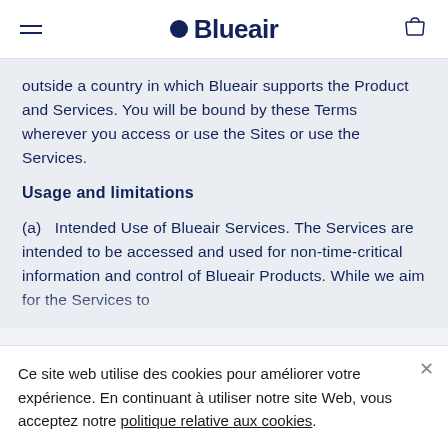Blueair
outside a country in which Blueair supports the Product and Services. You will be bound by these Terms wherever you access or use the Sites or use the Services.
Usage and limitations
(a)  Intended Use of Blueair Services. The Services are intended to be accessed and used for non-time-critical information and control of Blueair Products. While we aim for the Services to
Ce site web utilise des cookies pour améliorer votre expérience. En continuant à utiliser notre site Web, vous acceptez notre politique relative aux cookies.